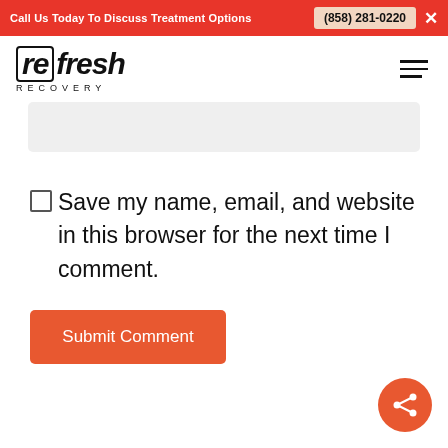Call Us Today To Discuss Treatment Options (858) 281-0220
[Figure (logo): Refresh Recovery logo with stylized bracket around 're' in refresh and RECOVERY text below]
Save my name, email, and website in this browser for the next time I comment.
Submit Comment